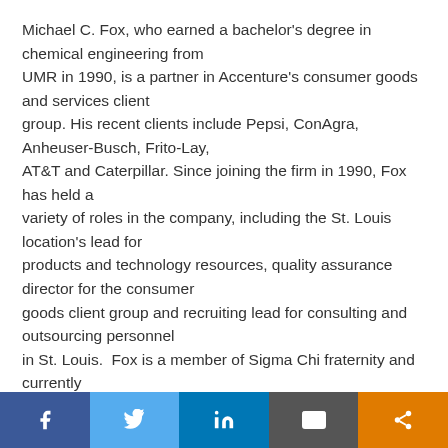Michael C. Fox, who earned a bachelor's degree in chemical engineering from UMR in 1990, is a partner in Accenture's consumer goods and services client group. His recent clients include Pepsi, ConAgra, Anheuser-Busch, Frito-Lay, AT&T and Caterpillar. Since joining the firm in 1990, Fox has held a variety of roles in the company, including the St. Louis location's lead for products and technology resources, quality assurance director for the consumer goods client group and recruiting lead for consulting and outsourcing personnel in St. Louis.  Fox is a member of Sigma Chi fraternity and currently serves on the UMR Corporate Development Council.
Social share bar: Facebook, Twitter, LinkedIn, Email, Share